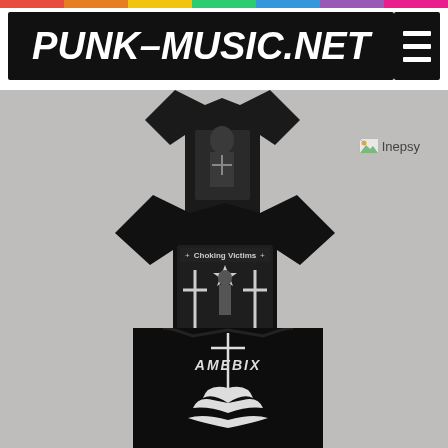PUNK-MUSIC.NET
[Figure (photo): Black t-shirt with dark graphic print, partially visible at top]
[Figure (illustration): Small broken image icon with label 'Inepsy']
[Figure (photo): Black t-shirt with Choking Victims graphic - white figures with crosses and star, text 'NO GODS / NO MANAGERS']
[Figure (photo): Black t-shirt with Amebix logo and bird/phoenix graphic in white]